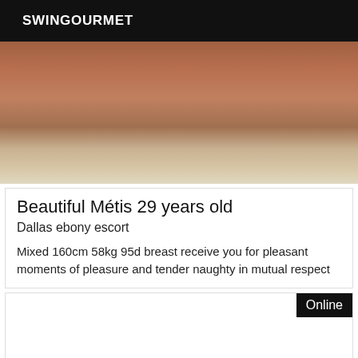SWINGOURMET
[Figure (photo): Close-up photo showing a person's midsection and hands on a floor, warm brown tones]
Beautiful Métis 29 years old
Dallas ebony escort
Mixed 160cm 58kg 95d breast receive you for pleasant moments of pleasure and tender naughty in mutual respect
Online